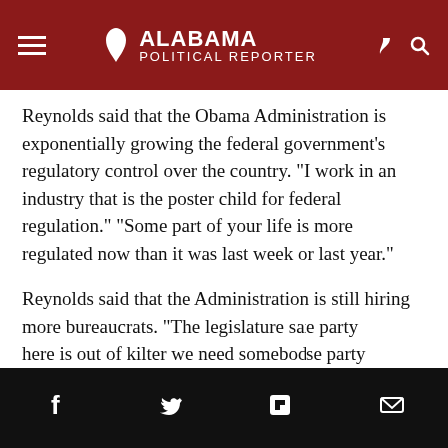Alabama Political Reporter
Reynolds said that the Obama Administration is exponentially growing the federal government’s regulatory control over the country. “I work in an industry that is the poster child for federal regulation.” “Some part of your life is more regulated now than it was last week or last year.”
Reynolds said that the Administration is still hiring more bureaucrats. “The legislature said this industry here is out of kilter we need somebody to regulate that industry. Lets form a commission. We have more commissions in Washington than we have people in some counties in Alabama.” These commissions are usually made up of 5 people. Two members from the [party] [opposite party]
Share icons: Facebook, Twitter, Flipboard, Email